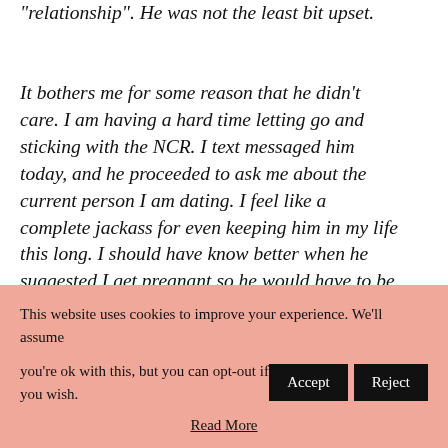“relationship”. He was not the least bit upset.
It bothers me for some reason that he didn’t care. I am having a hard time letting go and sticking with the NCR. I text messaged him today, and he proceeded to ask me about the current person I am dating. I feel like a complete jackass for even keeping him in my life this long. I should have know better when he suggested I get pregnant so he would have to be
This website uses cookies to improve your experience. We'll assume you're ok with this, but you can opt-out if you wish. Accept Reject Read More